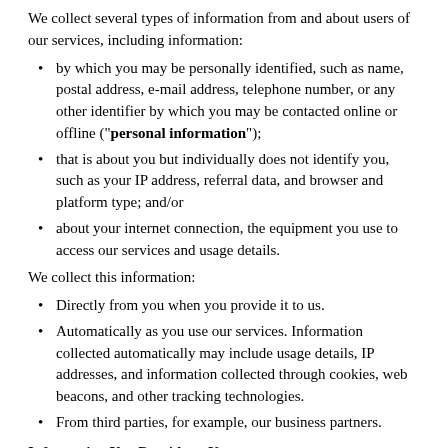We collect several types of information from and about users of our services, including information:
by which you may be personally identified, such as name, postal address, e-mail address, telephone number, or any other identifier by which you may be contacted online or offline ("personal information");
that is about you but individually does not identify you, such as your IP address, referral data, and browser and platform type; and/or
about your internet connection, the equipment you use to access our services and usage details.
We collect this information:
Directly from you when you provide it to us.
Automatically as you use our services. Information collected automatically may include usage details, IP addresses, and information collected through cookies, web beacons, and other tracking technologies.
From third parties, for example, our business partners.
Information You Provide to Us
The information we collect through our services may include: